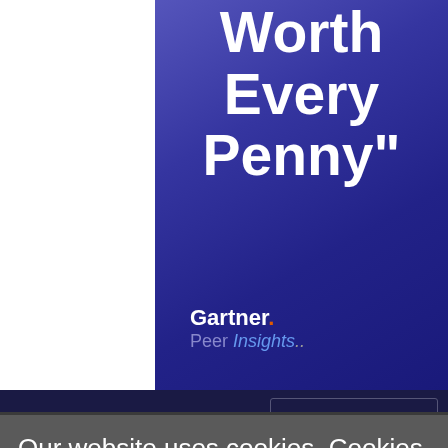Worth Every Penny"
[Figure (logo): Gartner Peer Insights logo with white Gartner text and blue/purple Peer Insights text on dark blue background]
Our website uses cookies. Cookies enable us to provide the best experience possible and help us understand how visitors use our website. By browsing bankinfosecurity.com, you agree to our use of cookies.
LATEST TWEETS AND MENTIONS